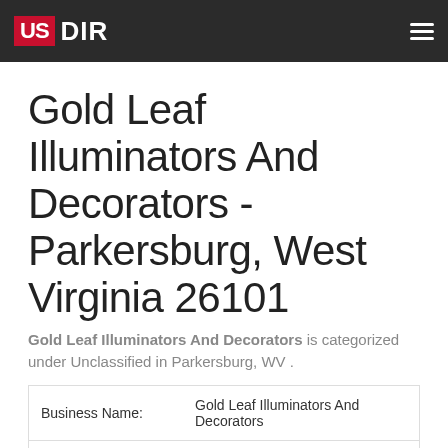US DIR
Gold Leaf Illuminators And Decorators - Parkersburg, West Virginia 26101
Gold Leaf Illuminators And Decorators is categorized under Unclassified in Parkersburg, WV.
| Field | Value |
| --- | --- |
| Business Name: | Gold Leaf Illuminators And Decorators |
| Contact Person: | Tina Kesterson  Full Name Report |
| Address: | 1727 Beaver St, Parkersburg, West Virginia 26101 |